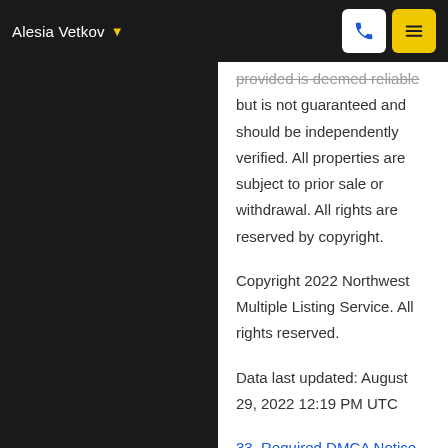Alesia Vetkov
provided is deemed reliable but is not guaranteed and should be independently verified. All properties are subject to prior sale or withdrawal. All rights are reserved by copyright.
Copyright 2022 Northwest Multiple Listing Service. All rights reserved.
Data last updated: August 29, 2022 12:19 PM UTC
33. Required DMCA Notice